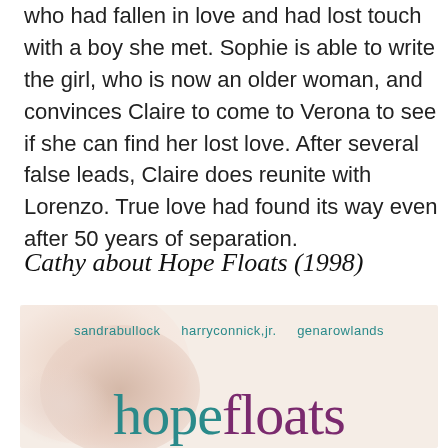who had fallen in love and had lost touch with a boy she met. Sophie is able to write the girl, who is now an older woman, and convinces Claire to come to Verona to see if she can find her lost love. After several false leads, Claire does reunite with Lorenzo. True love had found its way even after 50 years of separation.
Cathy about Hope Floats (1998)
[Figure (photo): Movie poster for Hope Floats (1998) showing actor names 'sandrabullock harryconnick,jr. genarowlands' in teal text and the title 'hopefloats' in large text with 'hope' in teal and 'floats' in purple, against a soft peach/cream background.]